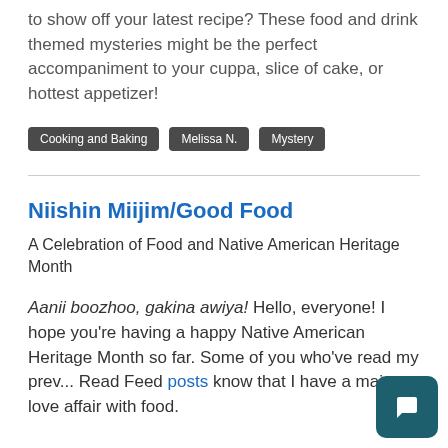to show off your latest recipe? These food and drink themed mysteries might be the perfect accompaniment to your cuppa, slice of cake, or hottest appetizer!
Cooking and Baking
Melissa N.
Mystery
Niishin Miijim/Good Food
A Celebration of Food and Native American Heritage Month
Aanii boozhoo, gakina awiya! Hello, everyone! I hope you're having a happy Native American Heritage Month so far. Some of you who've read my prev... Read Feed posts know that I have a major love affair with food.